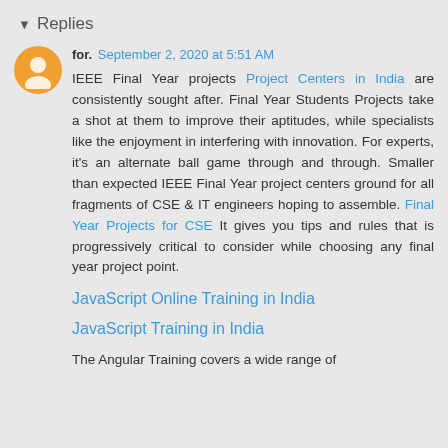▾ Replies
for. September 2, 2020 at 5:51 AM
IEEE Final Year projects Project Centers in India are consistently sought after. Final Year Students Projects take a shot at them to improve their aptitudes, while specialists like the enjoyment in interfering with innovation. For experts, it's an alternate ball game through and through. Smaller than expected IEEE Final Year project centers ground for all fragments of CSE & IT engineers hoping to assemble. Final Year Projects for CSE It gives you tips and rules that is progressively critical to consider while choosing any final year project point.
JavaScript Online Training in India
JavaScript Training in India
The Angular Training covers a wide range of